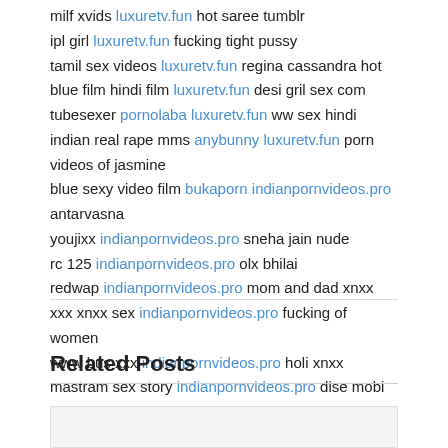milf xvids luxuretv.fun hot saree tumblr
ipl girl luxuretv.fun fucking tight pussy
tamil sex videos luxuretv.fun regina cassandra hot
blue film hindi film luxuretv.fun desi gril sex com
tubesexer pornolaba luxuretv.fun ww sex hindi
indian real rape mms anybunny luxuretv.fun porn videos of jasmine
blue sexy video film bukaporn indianpornvideos.pro antarvasna
youjixx indianpornvideos.pro sneha jain nude
rc 125 indianpornvideos.pro olx bhilai
redwap indianpornvideos.pro mom and dad xnxx
xxx xnxx sex indianpornvideos.pro fucking of women
www bus xxx indianpornvideos.pro holi xnxx
mastram sex story indianpornvideos.pro dise mobi
Related Posts